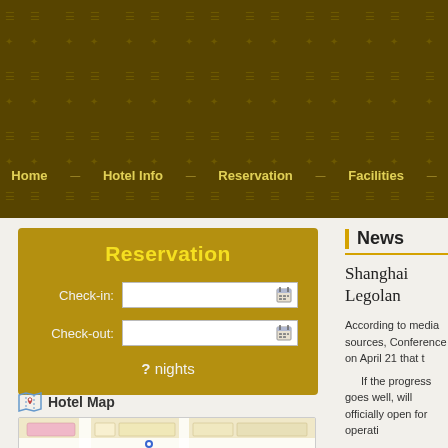Hotel website header with dark golden background and decorative pattern
Home
Hotel Info
Reservation
Facilities
Reservation
Check-in:
Check-out:
? nights
Hotel Map
[Figure (map): Hotel location map preview showing streets and building outlines with a blue marker pin]
News
Shanghai Legolan
According to media sources, Conference on April 21 that t
If the progress goes well, will officially open for operati